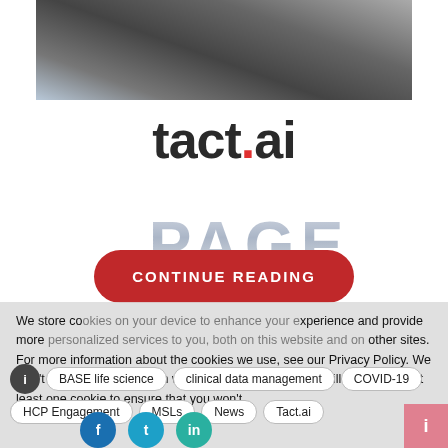[Figure (photo): Hero image showing a handshake with a blurred city/data background]
tact.ai
[Figure (other): Large watermark text reading 'PAGE' in grey gradient letters]
CONTINUE READING
We store cookies on your device to enhance your experience and provide more personalized services to you, both on this website and on other sites. For more information about the cookies we use, see our Privacy Policy. We won't track your information when you visit our site. We will have to use at least one cookie to ensure that you won't
BASE life science
clinical data management
COVID-19
crm
HCP Engagement
MSLs
News
Tact.ai